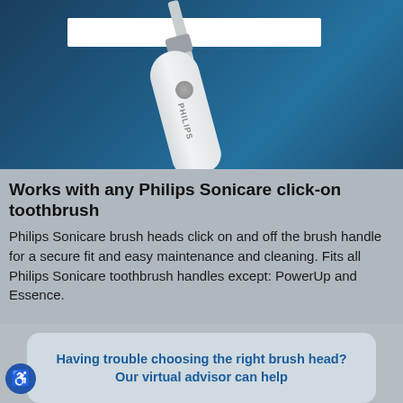[Figure (photo): Philips Sonicare electric toothbrush handle with brush head being removed/attached, shown on a blue background with a white search bar overlay at the top]
Works with any Philips Sonicare click-on toothbrush
Philips Sonicare brush heads click on and off the brush handle for a secure fit and easy maintenance and cleaning. Fits all Philips Sonicare toothbrush handles except: PowerUp and Essence.
Having trouble choosing the right brush head?
Our virtual advisor can help